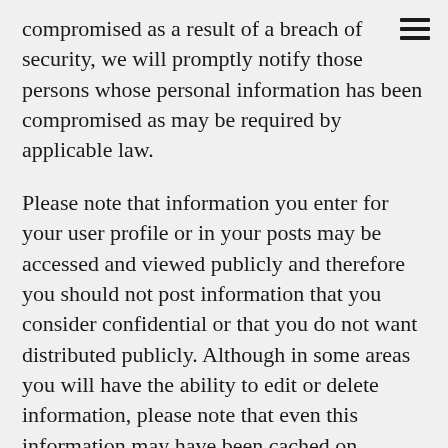[Figure (other): Hamburger menu icon (three horizontal lines) in top-right corner]
compromised as a result of a breach of security, we will promptly notify those persons whose personal information has been compromised as may be required by applicable law.
Please note that information you enter for your user profile or in your posts may be accessed and viewed publicly and therefore you should not post information that you consider confidential or that you do not want distributed publicly. Although in some areas you will have the ability to edit or delete information, please note that even this information may have been cached on servers, cut and pasted or